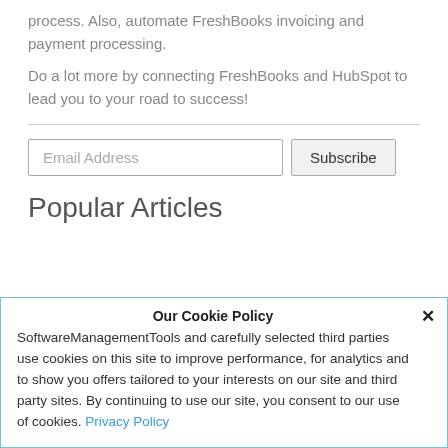process. Also, automate FreshBooks invoicing and payment processing.
Do a lot more by connecting FreshBooks and HubSpot to lead you to your road to success!
Email Address  Subscribe
Popular Articles
Our Cookie Policy
SoftwareManagementTools and carefully selected third parties use cookies on this site to improve performance, for analytics and to show you offers tailored to your interests on our site and third party sites. By continuing to use our site, you consent to our use of cookies. Privacy Policy